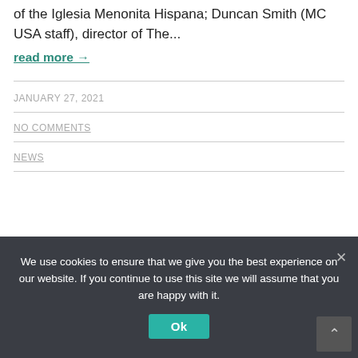of the Iglesia Menonita Hispana; Duncan Smith (MC USA staff), director of The...
read more →
JANUARY 27, 2021
NO COMMENTS
NEWS
We use cookies to ensure that we give you the best experience on our website. If you continue to use this site we will assume that you are happy with it.